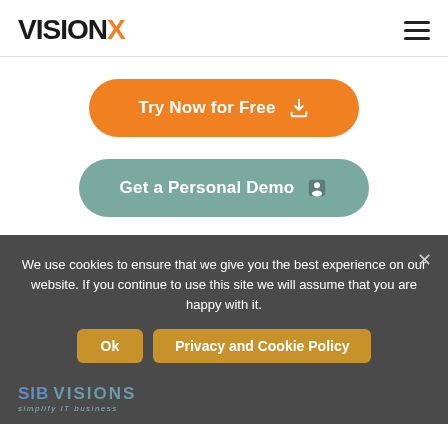VISIONX navigation header
Try Now for Free
Get a Personal Demo
We use cookies to ensure that we give you the best experience on our website. If you continue to use this site we will assume that you are happy with it.
Ok
Privacy and Cookie Policy
SIB VISIONS simplify IT business